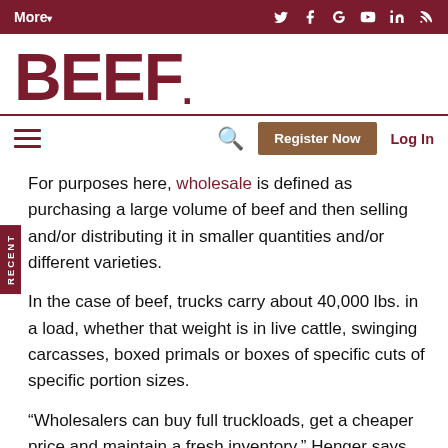More▾  [social icons: twitter, facebook, google+, youtube, linkedin, rss]
BEEF.
☰  🔍  Register Now  Log In
For purposes here, wholesale is defined as purchasing a large volume of beef and then selling and/or distributing it in smaller quantities and/or different varieties.
In the case of beef, trucks carry about 40,000 lbs. in a load, whether that weight is in live cattle, swinging carcasses, boxed primals or boxes of specific cuts of specific portion sizes.
“Wholesalers can buy full truckloads, get a cheaper price and maintain a fresh inventory,” Henger says.